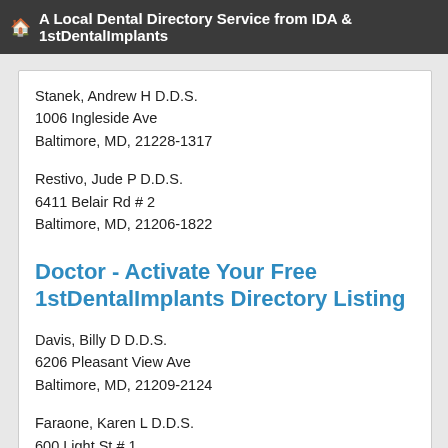A Local Dental Directory Service from IDA & 1stDentalImplants
Stanek, Andrew H D.D.S.
1006 Ingleside Ave
Baltimore, MD, 21228-1317
Restivo, Jude P D.D.S.
6411 Belair Rd # 2
Baltimore, MD, 21206-1822
Doctor - Activate Your Free 1stDentalImplants Directory Listing
Davis, Billy D D.D.S.
6206 Pleasant View Ave
Baltimore, MD, 21209-2124
Faraone, Karen L D.D.S.
600 Light St # 1
Baltimore, MD, 21230-3829
Teeth Implants: The Permanent Solution to